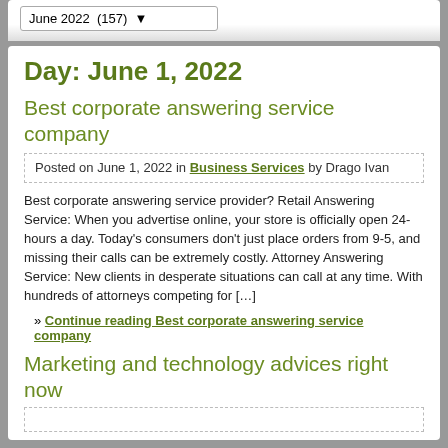June 2022 (157)
Day: June 1, 2022
Best corporate answering service company
Posted on June 1, 2022 in Business Services by Drago Ivan
Best corporate answering service provider? Retail Answering Service: When you advertise online, your store is officially open 24-hours a day. Today's consumers don't just place orders from 9-5, and missing their calls can be extremely costly. Attorney Answering Service: New clients in desperate situations can call at any time. With hundreds of attorneys competing for […]
» Continue reading Best corporate answering service company
Marketing and technology advices right now